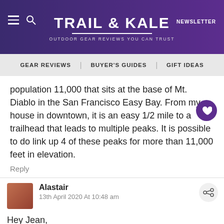TRAIL & KALE | OUTDOOR GEAR REVIEWS YOU CAN TRUST | NEWSLETTER
GEAR REVIEWS | BUYER'S GUIDES | GIFT IDEAS
population 11,000 that sits at the base of Mt. Diablo in the San Francisco Easy Bay. From my house in downtown, it is an easy 1/2 mile to a trailhead that leads to multiple peaks. It is possible to do link up 4 of these peaks for more than 11,000 feet in elevation.
Reply
Alastair
13th April 2020 At 10:48 am
Hey Jean,

I don't recall referring to Salt Lake City as